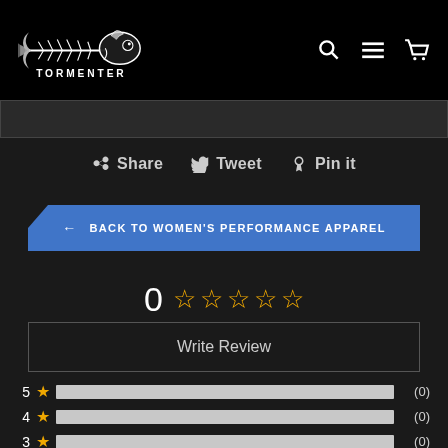[Figure (logo): Tormenter brand logo — fish skeleton graphic with TORMENTER text, white on black background]
Share   Tweet   Pin it
← BACK TO WOMEN'S PERFORMANCE APPAREL
0 ☆☆☆☆☆
Write Review
5 ★ (0)
4 ★ (0)
3 ★ (0)